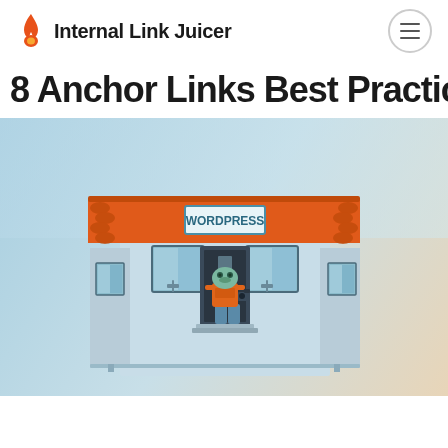Internal Link Juicer
8 Anchor Links Best Practices
[Figure (illustration): Cartoon illustration of a WordPress storefront building with an orange roof and roof tiles, a sign reading 'WORDPRESS', windows, and a cartoon frog character in an orange t-shirt standing in the doorway, on a gradient blue-to-peach background.]